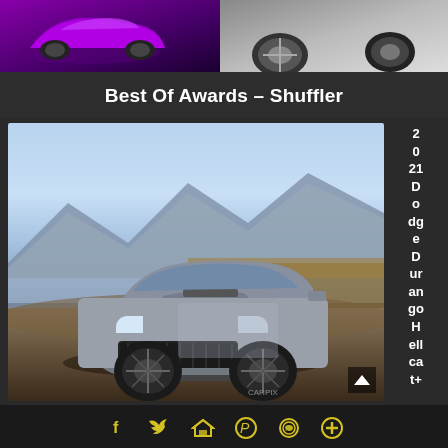[Figure (photo): Two car images side by side at top: purple muscle car on left, yellow/silver car on right]
Best Of Awards – Shuffler
[Figure (photo): 2021 Dodge Durango Hellcat+ SUV parked near a lake with snowy mountains in background]
2021 Dodge Durango Hellcat+
Social share icons: Facebook, Twitter, Email, Pinterest, WhatsApp, Plus